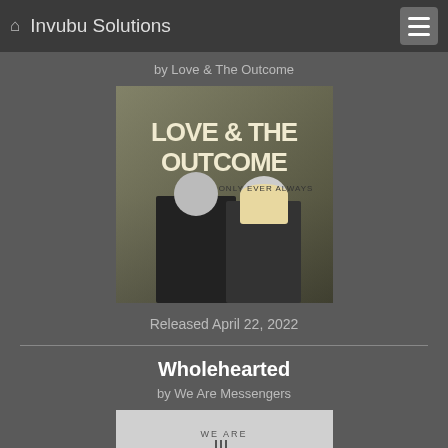Invubu Solutions
by Love & The Outcome
[Figure (photo): Album cover for 'Only Ever Always' by Love & The Outcome showing the band members in black jackets with large text 'LOVE & THE OUTCOME' and 'ONLY EVER ALWAYS']
Released April 22, 2022
Wholehearted
by We Are Messengers
[Figure (logo): We Are Messengers logo on light grey background]